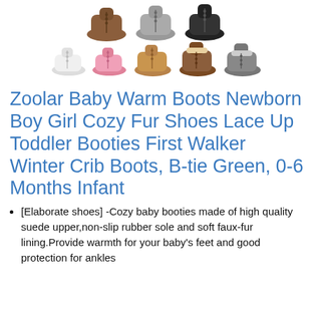[Figure (photo): Product image showing multiple color variants of baby warm boots/booties arranged in two rows. Top row shows brown, gray, and black boots; bottom row shows white, pink, tan, brown fur-lined, and gray boots.]
Zoolar Baby Warm Boots Newborn Boy Girl Cozy Fur Shoes Lace Up Toddler Booties First Walker Winter Crib Boots, B-tie Green, 0-6 Months Infant
[Elaborate shoes] -Cozy baby booties made of high quality suede upper,non-slip rubber sole and soft faux-fur lining.Provide warmth for your baby's feet and good protection for ankles